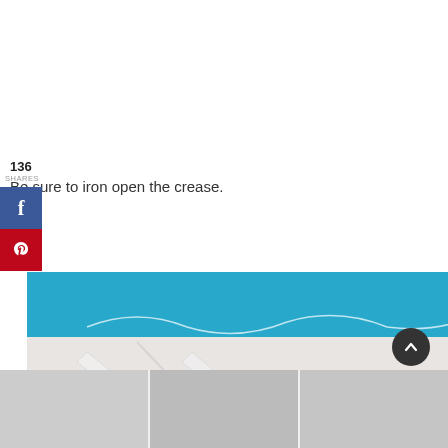136
SHARES
Be sure to iron open the crease.
[Figure (photo): Close-up photo of white fabric with an ironed-open seam crease against a blue background, showing the opened crease detail]
[Figure (photo): Thumbnail strip of related photos at bottom of page]